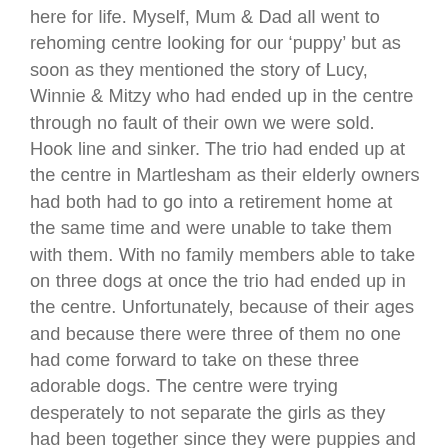here for life.  Myself, Mum & Dad all went to rehoming centre looking for our 'puppy' but as soon as they mentioned the story of Lucy, Winnie & Mitzy who had ended up in the centre through no fault of their own we were sold.  Hook line and sinker.  The trio had ended up at the centre in Martlesham as their elderly owners had both had to go into a retirement home at the same time and were unable to take them with them.  With no family members able to take on three dogs at once the trio had ended up in the centre.  Unfortunately, because of their ages and because there were three of them no one had come forward to take on these three adorable dogs.  The centre were trying desperately to not separate the girls as they had been together since they were puppies and very much did everything together.  A really nice little thought is that they had put a date on when they were going to have to split the girls up to try and get them re-homed.  This was the day us three muppets turned up!  Dad was sceptical, and to this day he claims he was forced into having them…let me tell you the truth.  At the point